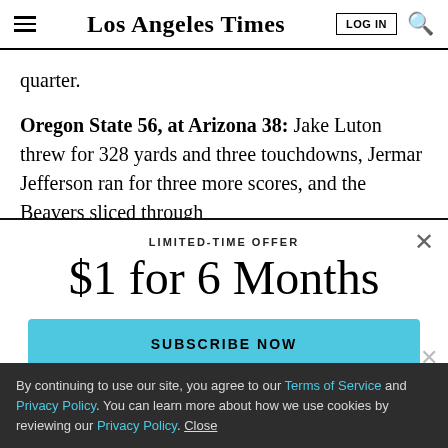Los Angeles Times
quarter.
Oregon State 56, at Arizona 38: Jake Luton threw for 328 yards and three touchdowns, Jermar Jefferson ran for three more scores, and the Beavers sliced through
LIMITED-TIME OFFER
$1 for 6 Months
SUBSCRIBE NOW
By continuing to use our site, you agree to our Terms of Service and Privacy Policy. You can learn more about how we use cookies by reviewing our Privacy Policy. Close